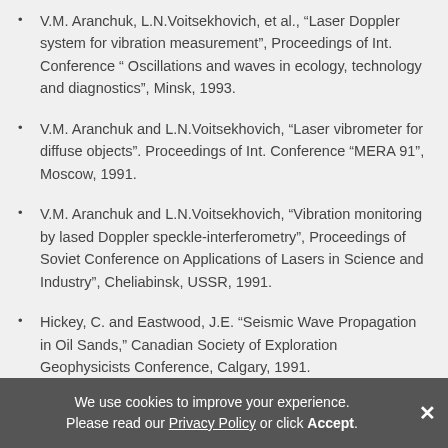V.M. Aranchuk, L.N.Voitsekhovich, et al., “Laser Doppler system for vibration measurement”, Proceedings of Int. Conference “ Oscillations and waves in ecology, technology and diagnostics”, Minsk, 1993.
V.M. Aranchuk and L.N.Voitsekhovich, “Laser vibrometer for diffuse objects”. Proceedings of Int. Conference “MERA 91”, Moscow, 1991.
V.M. Aranchuk and L.N.Voitsekhovich, “Vibration monitoring by lased Doppler speckle-interferometry”, Proceedings of Soviet Conference on Applications of Lasers in Science and Industry”, Cheliabinsk, USSR, 1991.
Hickey, C. and Eastwood, J.E. “Seismic Wave Propagation in Oil Sands,” Canadian Society of Exploration Geophysicists Conference, Calgary, 1991.
Zhigu Lu, Xiufen Gong, and Zheming Zhu, “The automated
We use cookies to improve your experience. Please read our Privacy Policy or click Accept.